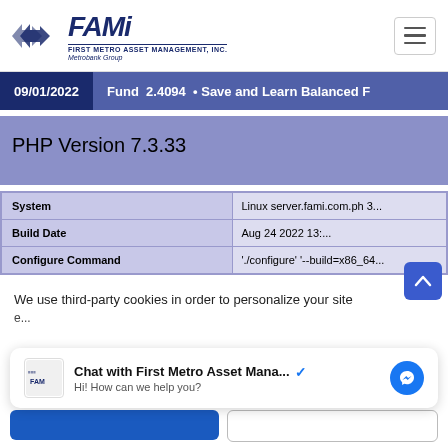[Figure (logo): FAMi - First Metro Asset Management Inc. logo with Metrobank Group tagline and navigation hamburger menu]
09/01/2022  Fund 2.4094 • Save and Learn Balanced F
PHP Version 7.3.33
|  |  |
| --- | --- |
| System | Linux server.fami.com.ph 3... |
| Build Date | Aug 24 2022 13:... |
| Configure Command | './configure' '--build=x86_64... |
We use third-party cookies in order to personalize your site
Chat with First Metro Asset Mana... ✔
Hi! How can we help you?